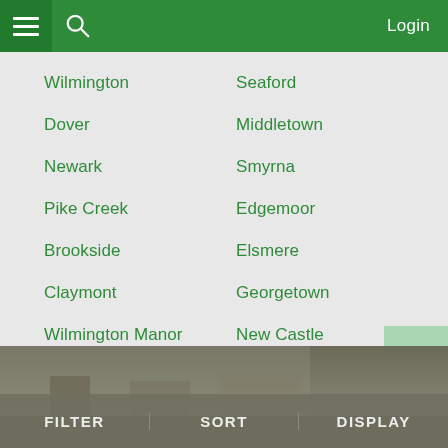Login
Wilmington
Seaford
Dover
Middletown
Newark
Smyrna
Pike Creek
Edgemoor
Brookside
Elsmere
Claymont
Georgetown
Wilmington Manor
New Castle
Milford
[Figure (screenshot): Bottom photo strip showing parked cars and trees in winter, with FILTER, SORT, DISPLAY toolbar buttons overlaid]